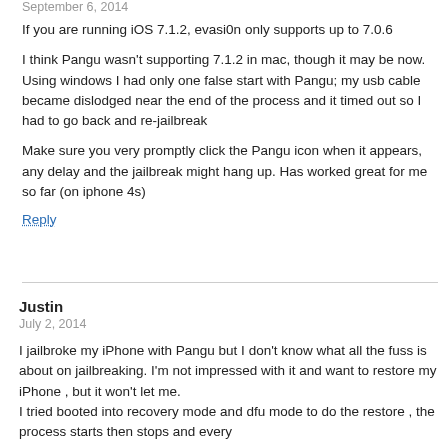September 6, 2014
If you are running iOS 7.1.2, evasi0n only supports up to 7.0.6
I think Pangu wasn't supporting 7.1.2 in mac, though it may be now. Using windows I had only one false start with Pangu; my usb cable became dislodged near the end of the process and it timed out so I had to go back and re-jailbreak
Make sure you very promptly click the Pangu icon when it appears, any delay and the jailbreak might hang up. Has worked great for me so far (on iphone 4s)
Reply
Justin
July 2, 2014
I jailbroke my iPhone with Pangu but I don't know what all the fuss is about on jailbreaking. I'm not impressed with it and want to restore my iPhone , but it won't let me.
I tried booted into recovery mode and dfu mode to do the restore , the process starts then stops and every